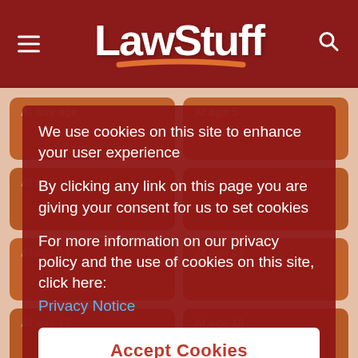LawStuff
[Figure (screenshot): Website background showing grid of age-based legal information buttons: At any age, At age 5, At age 10, At age 12, At age 13, At age 14, At age 15, At age 16, At age 17, At age 18]
We use cookies on this site to enhance your user experience
By clicking any link on this page you are giving your consent for us to set cookies
For more information on our privacy policy and the use of cookies on this site, click here:
Privacy Notice
Accept Cookies